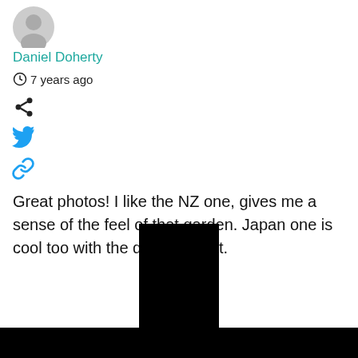[Figure (illustration): Gray circular avatar/profile picture placeholder]
Daniel Doherty
7 years ago
[Figure (illustration): Share icon (three connected dots)]
[Figure (illustration): Twitter bird icon in blue]
[Figure (illustration): Link/chain icon in blue]
Great photos! I like the NZ one, gives me a sense of the feel of that garden. Japan one is cool too with the dappled light.
[Figure (illustration): Black rounded rectangle shape, like a like/thumbs-up button icon, at the bottom of the page]